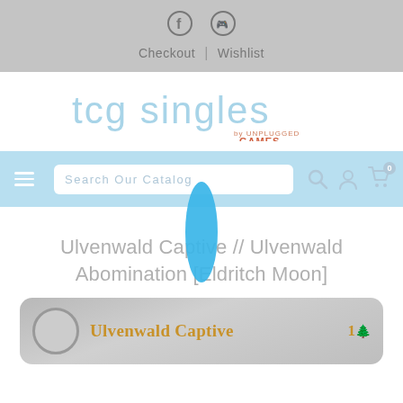Checkout | Wishlist
[Figure (logo): tcg singles by Unplugged Games logo in light blue/salmon colors]
[Figure (screenshot): Navigation bar with hamburger menu, search box reading 'Search Our Catalog', search icon, user icon, and cart icon with badge 0; a blue oval cursor/loading indicator overlaps the search bar]
Ulvenwald Captive // Ulvenwald Abomination [Eldritch Moon]
[Figure (photo): Partial view of a Magic: The Gathering card showing 'Ulvenwald Captive' with cost 1G in gray/washed-out colors]